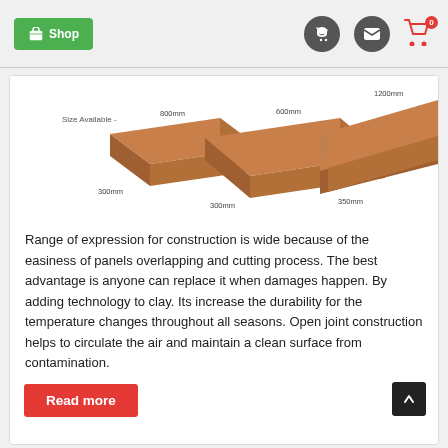Shop | Phone | Mail | Cart (0)
[Figure (illustration): Three terracotta/clay panels shown in perspective view at three sizes: 800mm x 300mm, 600mm x 300mm, and 1200mm x 350mm. Label reads 'Size Available']
Range of expression for construction is wide because of the easiness of panels overlapping and cutting process. The best advantage is anyone can replace it when damages happen. By adding technology to clay. Its increase the durability for the temperature changes throughout all seasons. Open joint construction helps to circulate the air and maintain a clean surface from contamination.
Read more